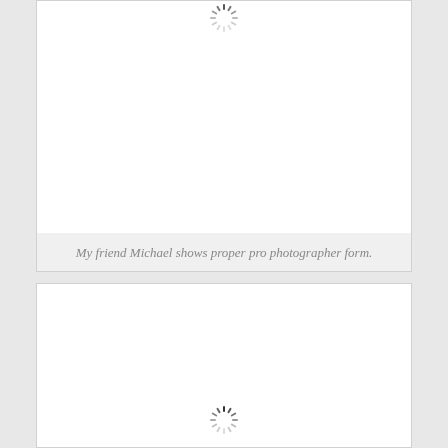[Figure (photo): Loading placeholder image (white rectangle with a spinning loader icon at the top center), with a caption bar at the bottom reading 'My friend Michael shows proper pro photographer form.']
My friend Michael shows proper pro photographer form.
[Figure (photo): Loading placeholder image (white rectangle with a spinning loader icon at the bottom center).]